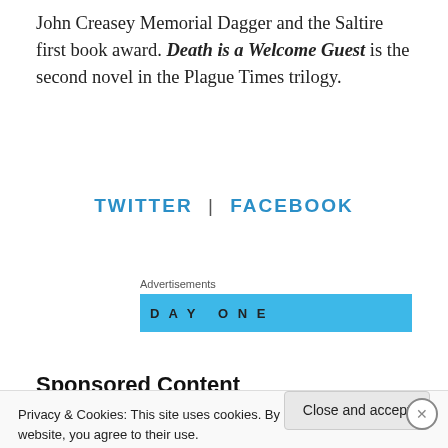John Creasey Memorial Dagger and the Saltire first book award. Death is a Welcome Guest is the second novel in the Plague Times trilogy.
TWITTER | FACEBOOK
Advertisements
[Figure (other): Advertisement banner with light blue background and 'DAY ONE' text]
Sponsored Content
Privacy & Cookies: This site uses cookies. By continuing to use this website, you agree to their use.
To find out more, including how to control cookies, see here: Cookie Policy
Close and accept